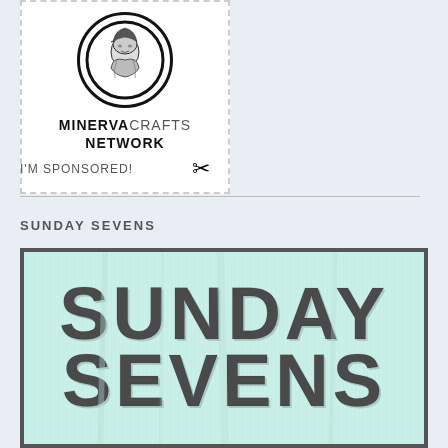[Figure (logo): Minerva Crafts Network logo in a dashed white box: a circular portrait illustration of Minerva in black, with bold text MINERVACRAFTS NETWORK and scissors icon]
I'M SPONSORED!
SUNDAY SEVENS
[Figure (illustration): Sunday Sevens graphic image: mint/teal green background with dark grey distressed bold block letters reading SUNDAY SEVENS, framed with a dark border]